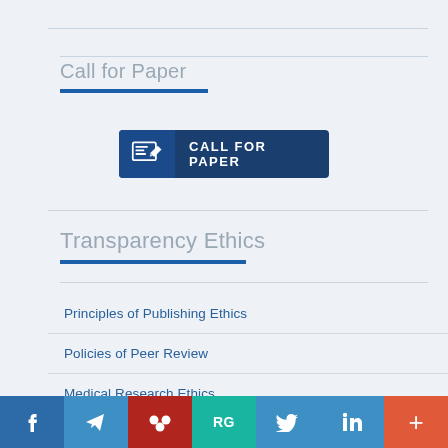Call for Paper
[Figure (other): Call for Paper button with dark blue background and white bold text 'CALL FOR PAPER' with a form/edit icon on the left]
Transparency Ethics
Principles of Publishing Ethics
Policies of Peer Review
Medical Research Ethics
Policies in Conflict of Interest
f  (telegram)  (mendeley)  RG  (twitter)  in  +